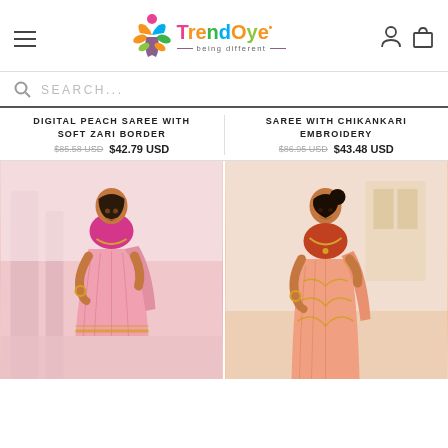TrendOye — being different
SEARCH...
DIGITAL PEACH SAREE WITH SOFT ZARI BORDER
$85.58 USD  $42.79 USD
SAREE WITH CHIKANKARI EMBROIDERY
$86.95 USD  $43.48 USD
[Figure (photo): Woman wearing a pink/peach saree with gold zari border, standing in front of stone columns]
[Figure (photo): Woman wearing a coral/orange saree with golden chikankari embroidery, standing indoors]